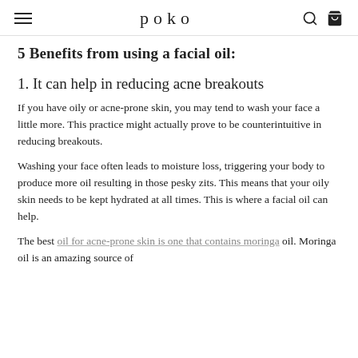poko
5 Benefits from using a facial oil:
1. It can help in reducing acne breakouts
If you have oily or acne-prone skin, you may tend to wash your face a little more. This practice might actually prove to be counterintuitive in reducing breakouts.
Washing your face often leads to moisture loss, triggering your body to produce more oil resulting in those pesky zits. This means that your oily skin needs to be kept hydrated at all times. This is where a facial oil can help.
The best oil for acne-prone skin is one that contains moringa oil. Moringa oil is an amazing source of